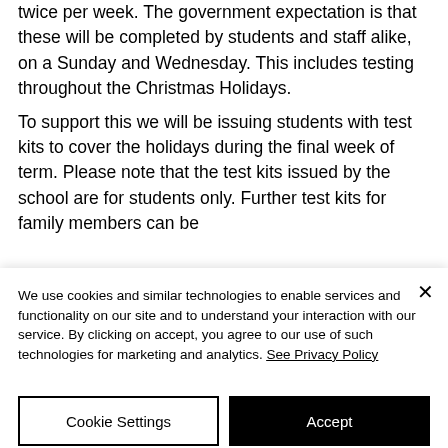twice per week. The government expectation is that these will be completed by students and staff alike, on a Sunday and Wednesday. This includes testing throughout the Christmas Holidays. To support this we will be issuing students with test kits to cover the holidays during the final week of term. Please note that the test kits issued by the school are for students only. Further test kits for family members can be
We use cookies and similar technologies to enable services and functionality on our site and to understand your interaction with our service. By clicking on accept, you agree to our use of such technologies for marketing and analytics. See Privacy Policy